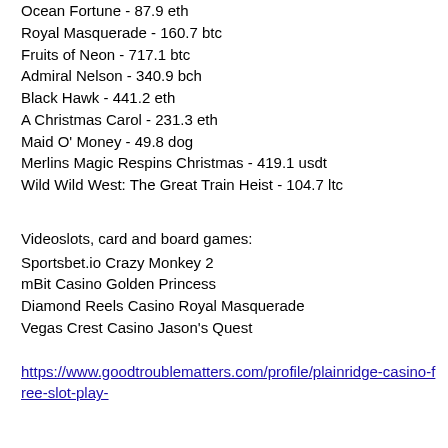Ocean Fortune - 87.9 eth
Royal Masquerade - 160.7 btc
Fruits of Neon - 717.1 btc
Admiral Nelson - 340.9 bch
Black Hawk - 441.2 eth
A Christmas Carol - 231.3 eth
Maid O' Money - 49.8 dog
Merlins Magic Respins Christmas - 419.1 usdt
Wild Wild West: The Great Train Heist - 104.7 ltc
Videoslots, card and board games:
Sportsbet.io Crazy Monkey 2
mBit Casino Golden Princess
Diamond Reels Casino Royal Masquerade
Vegas Crest Casino Jason's Quest
https://www.goodtroublematters.com/profile/plainridge-casino-free-slot-play-